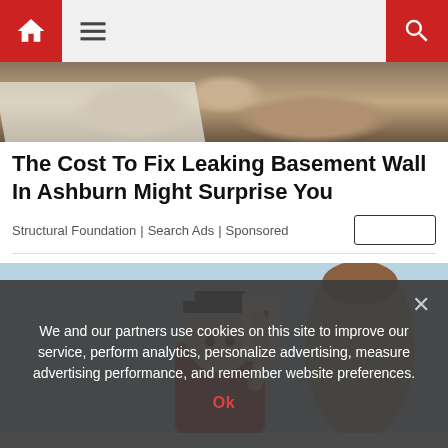Navigation bar with home icon, hamburger menu, and search icon
[Figure (photo): Construction site with soil and white tarp visible]
The Cost To Fix Leaking Basement Wall In Ashburn Might Surprise You
Structural Foundation | Search Ads | Sponsored
[Figure (photo): Child wearing graduation cap and gown, holding a diploma with red ribbon, smiling, with adult partially visible behind]
We and our partners use cookies on this site to improve our service, perform analytics, personalize advertising, measure advertising performance, and remember website preferences.
Ok